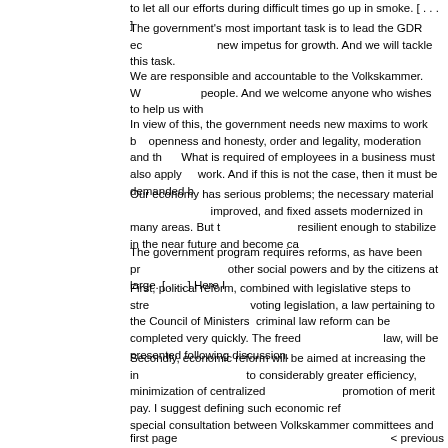to let all our efforts during difficult times go up in smoke. [ . . . ]
The government's most important task is to lead the GDR economy to give new impetus for growth. And we will tackle this task.
We are responsible and accountable to the Volkskammer. We serve the people. And we welcome anyone who wishes to help us with this task.
In view of this, the government needs new maxims to work by: transparency, openness and honesty, order and legality, moderation and thrift, and efficiency. What is required of employees in a business must also apply to those in public work. And if this is not the case, then it must be demanded by us.
Our economy has serious problems; the necessary material basis has been improved, and fixed assets modernized in many areas. But the economy is resilient enough to stabilize in the near future and become capable of reform.
The government program requires reforms, as have been proposed by many other social powers and by the citizens at large. [ . . . ] Here I...
First, political reform, combined with legislative steps to strengthen democracy: voting legislation, a law pertaining to the Council of Ministers, and reforms to criminal law reform can be completed very quickly. The freedom of the press law, will be presented following discussion.
Secondly, economic reform will be aimed at increasing the independence of firms to considerably greater efficiency, minimization of centralized management, and promotion of merit pay. I suggest defining such economic reform through a special consultation between Volkskammer committees and ... subsidy and price policies represents a significant task.
first page                                                          < previous